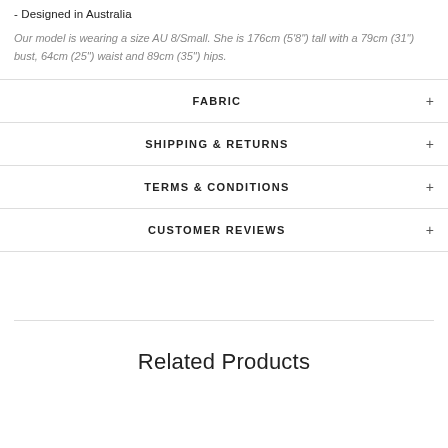- Designed in Australia
Our model is wearing a size AU 8/Small. She is 176cm (5'8") tall with a 79cm (31") bust, 64cm (25") waist and 89cm (35") hips.
FABRIC
SHIPPING & RETURNS
TERMS & CONDITIONS
CUSTOMER REVIEWS
Related Products